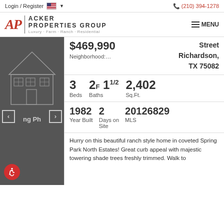Login / Register  (210) 394-1278
[Figure (logo): Acker Properties Group logo — AP initials in red with tagline Luxury · Farm · Ranch · Residential]
$469,990  Street Richardson, TX 75082  Neighborhood:...
3 Beds  2F 11/2 Baths  2,402 Sq.Ft.
1982 Year Built  2 Days on Site  20126829 MLS
Hurry on this beautiful ranch style home in coveted Spring Park North Estates! Great curb appeal with majestic towering shade trees freshly trimmed. Walk to